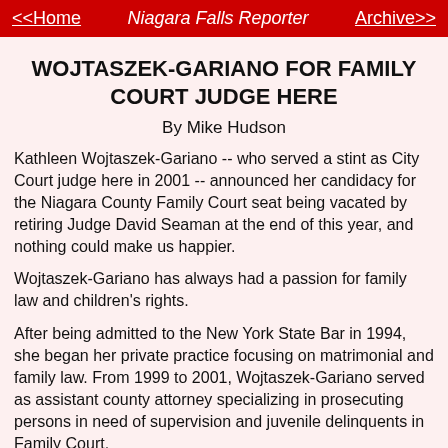<<Home   Niagara Falls Reporter   Archive>>
WOJTASZEK-GARIANO FOR FAMILY COURT JUDGE HERE
By Mike Hudson
Kathleen Wojtaszek-Gariano -- who served a stint as City Court judge here in 2001 -- announced her candidacy for the Niagara County Family Court seat being vacated by retiring Judge David Seaman at the end of this year, and nothing could make us happier.
Wojtaszek-Gariano has always had a passion for family law and children's rights.
After being admitted to the New York State Bar in 1994, she began her private practice focusing on matrimonial and family law. From 1999 to 2001, Wojtaszek-Gariano served as assistant county attorney specializing in prosecuting persons in need of supervision and juvenile delinquents in Family Court.
She also served on the law guardian panel from 1994 to